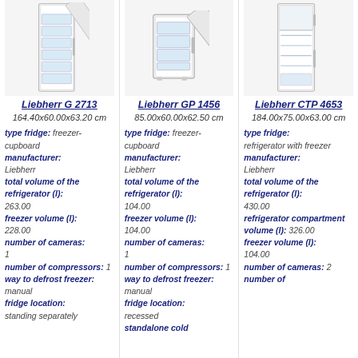[Figure (photo): Liebherr G 2713 freezer-cupboard, tall white appliance with multiple drawers, door open]
Liebherr G 2713
164.40x60.00x63.20 cm
type fridge: freezer-cupboard
manufacturer: Liebherr
total volume of the refrigerator (l): 263.00
freezer volume (l): 228.00
number of cameras: 1
number of compressors: 1
way to defrost freezer: manual
fridge location: standing separately
[Figure (photo): Liebherr GP 1456 freezer-cupboard, compact white under-counter appliance with drawers, door open]
Liebherr GP 1456
85.00x60.00x62.50 cm
type fridge: freezer-cupboard
manufacturer: Liebherr
total volume of the refrigerator (l): 104.00
freezer volume (l): 104.00
number of cameras: 1
number of compressors: 1
way to defrost freezer: manual
fridge location: recessed
standalone cold
[Figure (photo): Liebherr CTP 4653 refrigerator with freezer, tall two-door white appliance]
Liebherr CTP 4653
184.00x75.00x63.00 cm
type fridge: refrigerator with freezer
manufacturer: Liebherr
total volume of the refrigerator (l): 430.00
refrigerator compartment volume (l): 326.00
freezer volume (l): 104.00
number of cameras: 2
number of